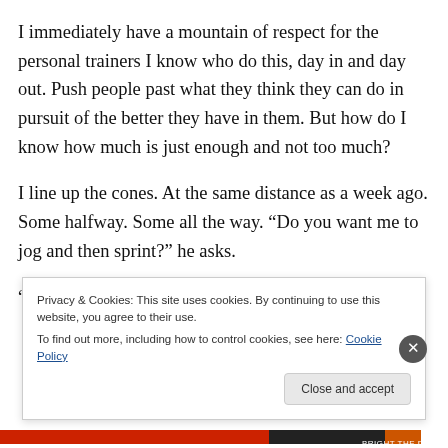I immediately have a mountain of respect for the personal trainers I know who do this, day in and day out. Push people past what they think they can do in pursuit of the better they have in them. But how do I know how much is just enough and not too much?
I line up the cones. At the same distance as a week ago. Some halfway. Some all the way. “Do you want me to jog and then sprint?” he asks.
“I want you to run them in a way you can finish.” I tell
Privacy & Cookies: This site uses cookies. By continuing to use this website, you agree to their use.
To find out more, including how to control cookies, see here: Cookie Policy